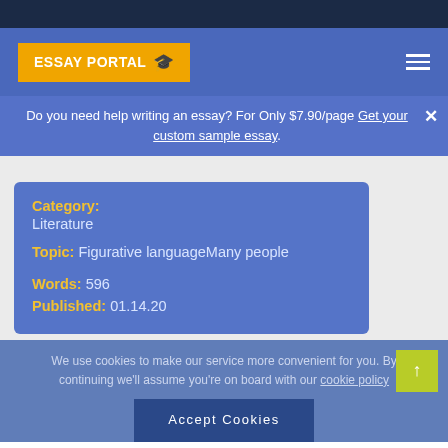[Figure (logo): Essay Portal logo with graduation cap on yellow/orange background, in blue navigation header]
Do you need help writing an essay? For Only $7.90/page Get your custom sample essay.
| Category: | Literature |
| Topic: | Figurative languageMany people |
| Words: | 596 |
| Published: | 01.14.20 |
We use cookies to make our service more convenient for you. By continuing we'll assume you're on board with our cookie policy
Accept Cookies